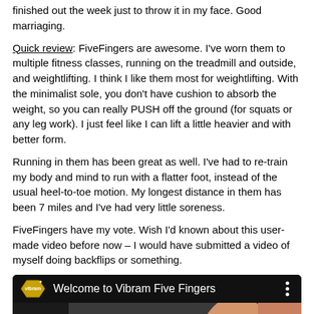finished out the week just to throw it in my face.  Good marriaging.
Quick review: FiveFingers are awesome.  I've worn them to multiple fitness classes, running on the treadmill and outside, and weightlifting.  I think I like them most for weightlifting.  With the minimalist sole, you don't have cushion to absorb the weight, so you can really PUSH off the ground (for squats or any leg work).  I just feel like I can lift a little heavier and with better form.
Running in them has been great as well.  I've had to re-train my body and mind to run with a flatter foot, instead of the usual heel-to-toe motion.  My longest distance in them has been 7 miles and I've had very little soreness.
FiveFingers have my vote.  Wish I'd known about this user-made video before now – I would have submitted a video of myself doing backflips or something.
[Figure (screenshot): Vibram Five Fingers YouTube video thumbnail showing 'Welcome to Vibram Five Fingers' title bar with Vibram logo, and a video frame showing hands putting on Vibram FiveFingers shoes]